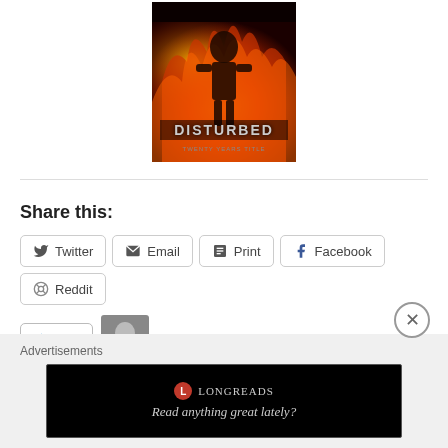[Figure (photo): Disturbed album cover with fiery imagery and band name 'DISTURBED' at center]
Share this:
Twitter | Email | Print | Facebook | Reddit (share buttons)
Like | One blogger likes this.
June 7, 2009
1 Reply
Advertisements
[Figure (screenshot): Longreads ad banner: logo and tagline 'Read anything great lately?']